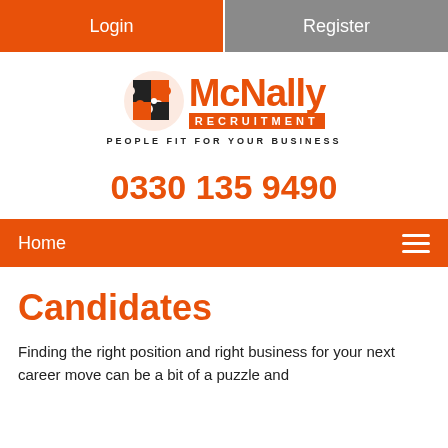Login | Register
[Figure (logo): McNally Recruitment logo with puzzle piece icon and tagline PEOPLE FIT FOR YOUR BUSINESS]
0330 135 9490
Home (navigation bar with hamburger menu)
Candidates
Finding the right position and right business for your next career move can be a bit of a puzzle and